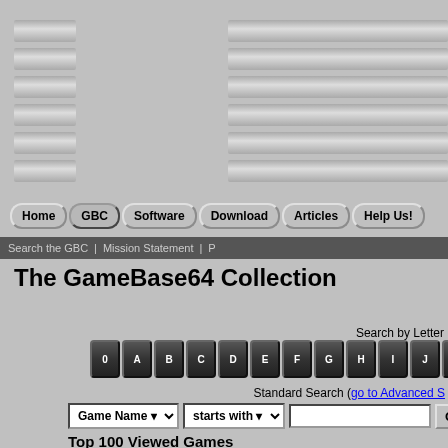[Figure (screenshot): Website header with decorative stripes on left and right, navigation buttons (Home, GBC, Software, Download, Articles, Help Us!), dark search bar with links, page title, letter keyboard search, standard search form, and results listing for The GameBase64 Collection]
Home | GBC | Software | Download | Articles | Help Us!
Search the GBC | Mission Statement | P
The GameBase64 Collection
Search by Letter
Standard Search (go to Advanced S
Top 100 Viewed Games
Found 100 games.  Showing 1 to 18.
Show these results without screenshots
Goto page 1, 2, 3, 4, 5, 6
1. (104375 views)
2. (84592 views)